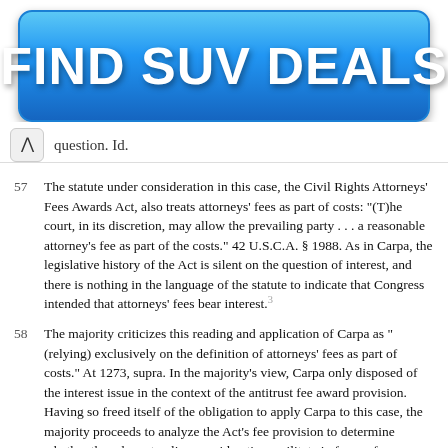[Figure (other): Blue gradient button/banner with white bold text reading 'FIND SUV DEALS']
question. Id.
57  The statute under consideration in this case, the Civil Rights Attorneys' Fees Awards Act, also treats attorneys' fees as part of costs: "(T)he court, in its discretion, may allow the prevailing party . . . a reasonable attorney's fee as part of the costs." 42 U.S.C.A. § 1988. As in Carpa, the legislative history of the Act is silent on the question of interest, and there is nothing in the language of the statute to indicate that Congress intended that attorneys' fees bear interest.³
58  The majority criticizes this reading and application of Carpa as "(relying) exclusively on the definition of attorneys' fees as part of costs." At 1273, supra. In the majority's view, Carpa only disposed of the interest issue in the context of the antitrust fee award provision. Having so freed itself of the obligation to apply Carpa to this case, the majority proceeds to analyze the Act's fee provision to determine whether the relevant policy considerations militate in favor of